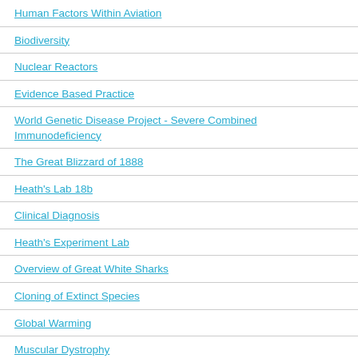Human Factors Within Aviation
Biodiversity
Nuclear Reactors
Evidence Based Practice
World Genetic Disease Project - Severe Combined Immunodeficiency
The Great Blizzard of 1888
Heath's Lab 18b
Clinical Diagnosis
Heath's Experiment Lab
Overview of Great White Sharks
Cloning of Extinct Species
Global Warming
Muscular Dystrophy
Jean Piaget's Theory of Cognitive Development